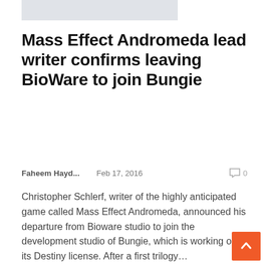[Figure (photo): Gray placeholder image at top of page]
Mass Effect Andromeda lead writer confirms leaving BioWare to join Bungie
Faheem Hayd...    Feb 17, 2016    0
Christopher Schlerf, writer of the highly anticipated game called Mass Effect Andromeda, announced his departure from Bioware studio to join the development studio of Bungie, which is working on its Destiny license. After a first trilogy...
[Figure (photo): NEWS badge with gray placeholder image card below]